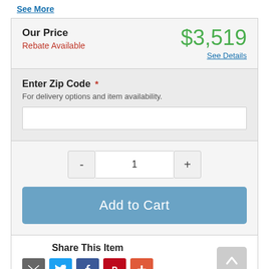See More
Our Price
Rebate Available
$3,519
See Details
Enter Zip Code *
For delivery options and item availability.
- 1 +
Add to Cart
Share This Item